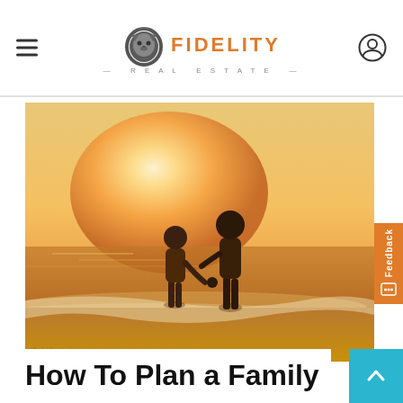FIDELITY REAL ESTATE
[Figure (photo): Two people holding hands walking on a beach at sunset with warm golden and orange tones, silhouetted against a bright glowing sky]
How To Plan a Family